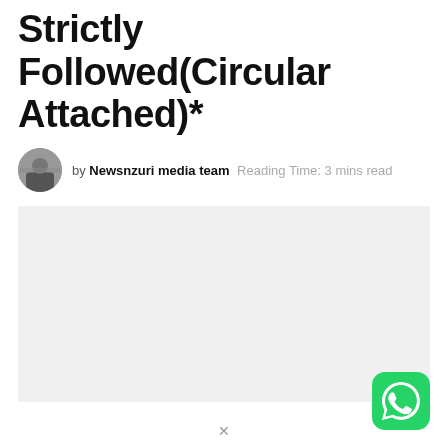Strictly Followed(Circular Attached)*
by Newsnzuri media team   Reading Time: 3 mins read
[Figure (photo): Light gray placeholder image for article illustration]
[Figure (logo): WhatsApp app icon — green rounded square with white phone/chat logo]